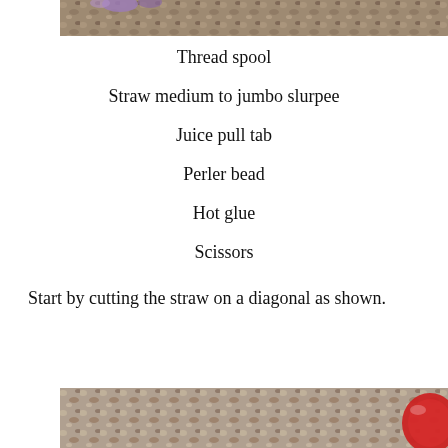[Figure (photo): Top portion of a photo showing gravel/rock surface with some purple flower visible at top edge]
Thread spool
Straw medium to jumbo slurpee
Juice pull tab
Perler bead
Hot glue
Scissors
Start by cutting the straw on a diagonal as shown.
[Figure (photo): Bottom portion of a photo showing gravel/rock surface with a red circular object visible at right edge]